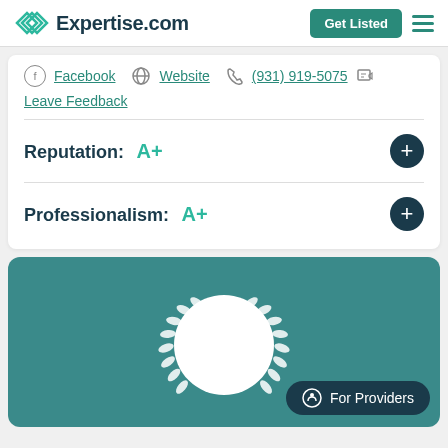Expertise.com | Get Listed
Facebook | Website | (931) 919-5075 | Leave Feedback
Reputation: A+
Professionalism: A+
[Figure (illustration): Teal card with white circular profile placeholder and laurel wreath decoration. 'For Providers' button bottom right.]